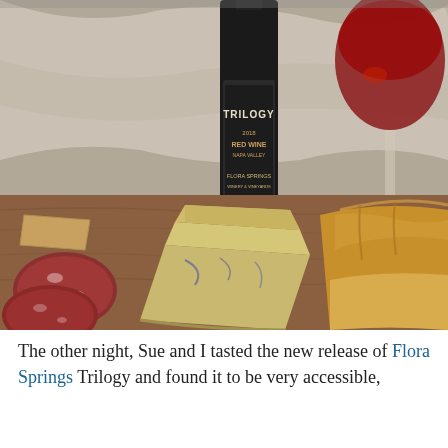[Figure (photo): A charcuterie board scene with a bottle of Flora Springs Trilogy Red Wine Napa Valley, a filled red wine glass, sliced blue cheese wedges, salami, mixed nuts/pecans, bread, and crackers arranged on a wooden board against a white cloth background.]
The other night, Sue and I tasted the new release of Flora Springs Trilogy and found it to be very accessible,